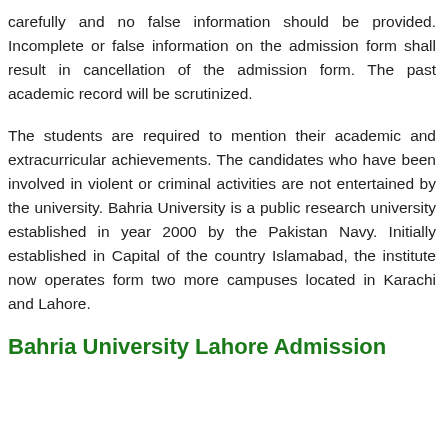carefully and no false information should be provided. Incomplete or false information on the admission form shall result in cancellation of the admission form. The past academic record will be scrutinized.
The students are required to mention their academic and extracurricular achievements. The candidates who have been involved in violent or criminal activities are not entertained by the university. Bahria University is a public research university established in year 2000 by the Pakistan Navy. Initially established in Capital of the country Islamabad, the institute now operates form two more campuses located in Karachi and Lahore.
Bahria University Lahore Admission